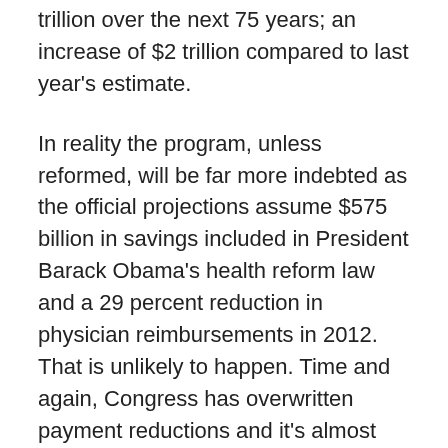trillion over the next 75 years; an increase of $2 trillion compared to last year's estimate.
In reality the program, unless reformed, will be far more indebted as the official projections assume $575 billion in savings included in President Barack Obama's health reform law and a 29 percent reduction in physician reimbursements in 2012. That is unlikely to happen. Time and again, Congress has overwritten payment reductions and it's almost certain to do so again, especially during an election year.
Medicaid spending, which subsidizes health care for the poor, has exploded over the past two decades, from nearly $74 billion in 1990 to more than $427 billion last year. Because Medicaid is paid for by the states, its rising costs increasingly crowd out investment in other areas, including education and infrastructure. Yet under the president's health reform law, some twenty million additional Americans would be eligible for